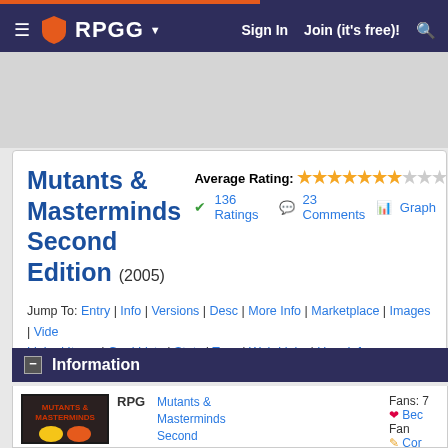RPGG — Sign In | Join (it's free)!
Mutants & Masterminds Second Edition (2005)
Average Rating: 7.38/10 — 136 Ratings | 23 Comments | Graph
Jump To: Entry | Info | Versions | Desc | More Info | Marketplace | Images | Videos | Linked Items | GeekLists | Stats | Tags | Web Links | User Info
Information
RPG — Mutants & Masterminds Second Edition. Fans: 7 — Become a Fan — Correct